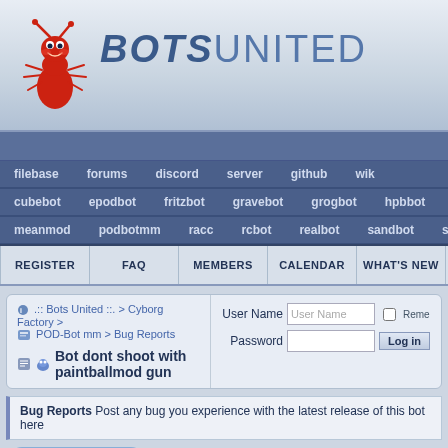[Figure (logo): Bots United logo with cartoon ant mascot and stylized text BOTSUNITED]
filebase  forums  discord  server  github  wiki
cubebot  epodbot  fritzbot  gravebot  grogbot  hpbbot  ivpbot  jkbot
meanmod  podbotmm  racc  rcbot  realbot  sandbot  shrikebot  soulfather
REGISTER  FAQ  MEMBERS  CALENDAR  WHAT'S NEW  SEARCH
.:: Bots United ::. > Cyborg Factory > POD-Bot mm > Bug Reports
Bot dont shoot with paintballmod gun
User Name  Password  Remember  Log in
Bug Reports Post any bug you experience with the latest release of this bot here
Post Reply